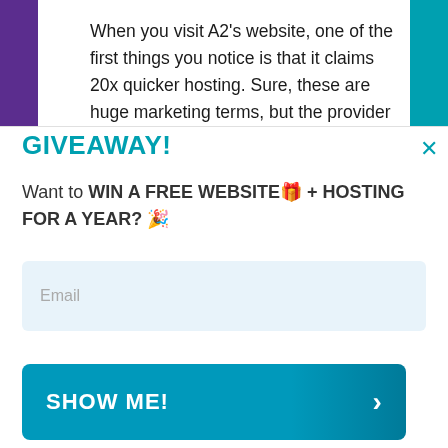When you visit A2's website, one of the first things you notice is that it claims 20x quicker hosting. Sure, these are huge marketing terms, but the provider has a lot of power on hand.
GIVEAWAY!
Want to WIN A FREE WEBSITE🎁 + HOSTING FOR A YEAR? 🎉